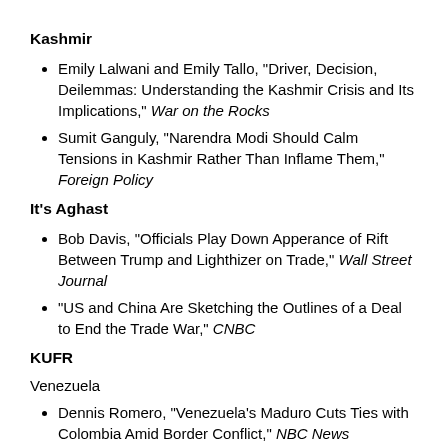Kashmir
Emily Lalwani and Emily Tallo, "Driver, Decision, Deilemmas: Understanding the Kashmir Crisis and Its Implications," War on the Rocks
Sumit Ganguly, "Narendra Modi Should Calm Tensions in Kashmir Rather Than Inflame Them," Foreign Policy
It's Aghast
Bob Davis, "Officials Play Down Apperance of Rift Between Trump and Lighthizer on Trade," Wall Street Journal
"US and China Are Sketching the Outlines of a Deal to End the Trade War," CNBC
KUFR
Venezuela
Dennis Romero, "Venezuela's Maduro Cuts Ties with Colombia Amid Border Conflict," NBC News
ISIS women
Meghna Chakrabarti, "Return from ISIS: American Women Want Out of